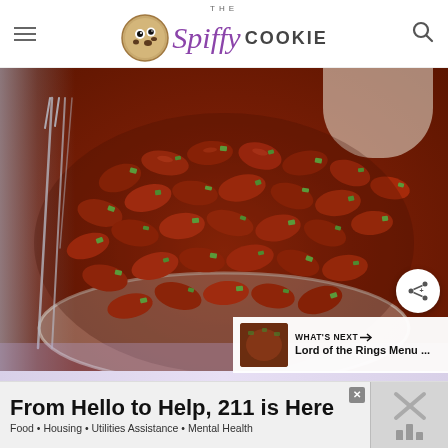THE Spiffy COOKIE
[Figure (photo): A bowl of red beans and rice topped with diced green onions, with a fork visible on the left side and rice visible on the right side.]
WHAT'S NEXT → Lord of the Rings Menu ...
From Hello to Help, 211 is Here
Food • Housing • Utilities Assistance • Mental Health